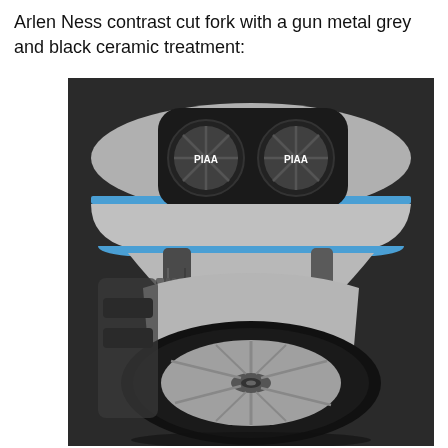Arlen Ness contrast cut fork with a gun metal grey and black ceramic treatment:
[Figure (photo): Close-up front view of a custom motorcycle showing dual PIAA headlights in a black fairing with blue trim, silver bodywork, an Arlen Ness contrast cut fork with gun metal grey finish, a large front wheel with spoked rim and wide tire, photographed against a dark grey background.]